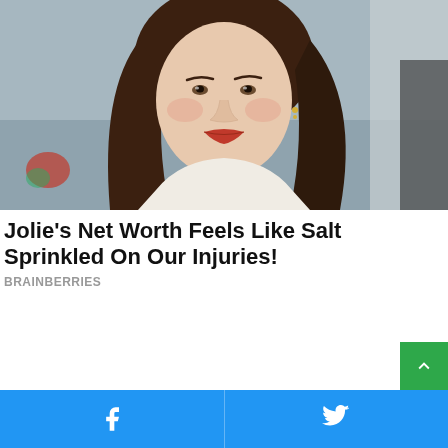[Figure (photo): Portrait photo of a woman with long brown hair, red lipstick, wearing a light-colored outfit, photographed outdoors with blurred background]
Jolie's Net Worth Feels Like Salt Sprinkled On Our Injuries!
BRAINBERRIES
[Figure (other): Green scroll-to-top button with upward chevron icon]
Facebook share button and Twitter share button in blue bottom bar